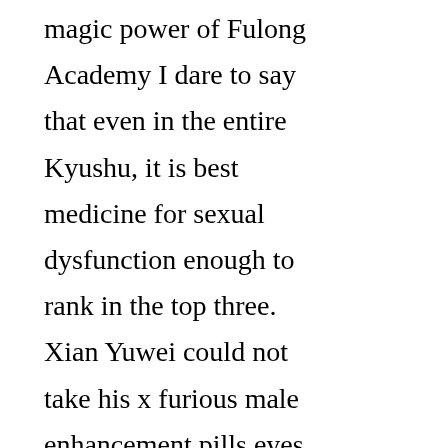magic power of Fulong Academy I dare to say that even in the entire Kyushu, it is best medicine for sexual dysfunction enough to rank in the top three. Xian Yuwei could not take his x furious male enhancement pills eyes off of it, especially behind Sun Mo, an ancient Buddha condensed from time to time, which was even more solemn and majestic. If they keep working like this, they will really get bored.I finally know why those men who